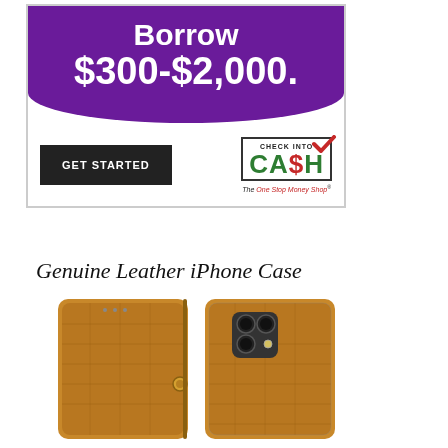[Figure (infographic): Check Into Cash advertisement banner with purple background showing 'Borrow $300-$2,000.' in large white text, a 'GET STARTED' dark button, and Check Into Cash logo with 'The One Stop Money Shop' tagline]
Genuine Leather iPhone Case
[Figure (photo): Two views of a tan/brown crocodile-texture genuine leather iPhone wallet case - left showing closed front with snap button clasp, right showing back with camera cutout on an iPhone 12 Pro]